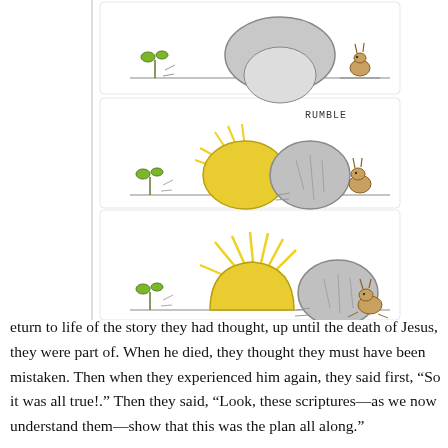[Figure (illustration): Three-panel comic-style illustration showing: top panel – a round stone tomb with a small rabbit and plant; middle panel – the stone rolling away with yellow light emanating, labeled 'RUMBLE', with rabbit watching; bottom panel – the tomb open with bright yellow light radiating from inside, stone rolled aside, rabbit hopping away.]
EASTER ...
eturn to life of the story they had thought, up until the death of Jesus, they were part of. When he died, they thought they must have been mistaken. Then when they experienced him again, they said first, “So it was all true!.” Then they said, “Look, these scriptures—as we now understand them—show that this was the plan all along."